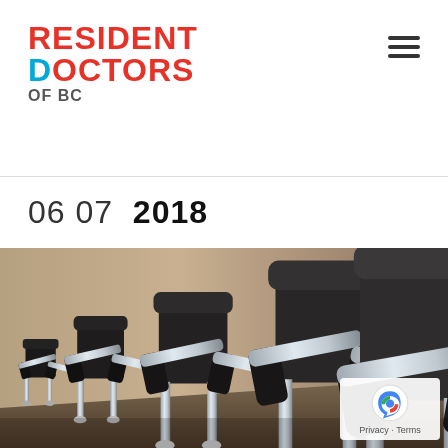RESIDENT DOCTORS OF BC
06 07  2018
[Figure (photo): Row of black office chairs with chrome arms lined up along a wooden conference table, photographed from a low angle in perspective view.]